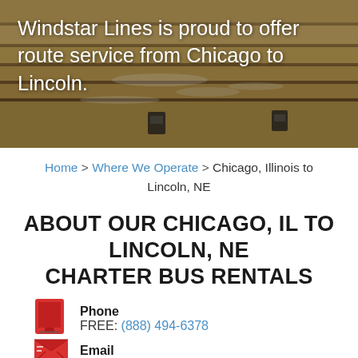[Figure (photo): Hero banner image showing steps/waterfall or tiered architectural feature with water, with overlaid white text. Brown/tan/golden tones.]
Windstar Lines is proud to offer route service from Chicago to Lincoln.
Home > Where We Operate > Chicago, Illinois to Lincoln, NE
ABOUT OUR CHICAGO, IL TO LINCOLN, NE CHARTER BUS RENTALS
Phone
FREE: (888) 494-6378
Email